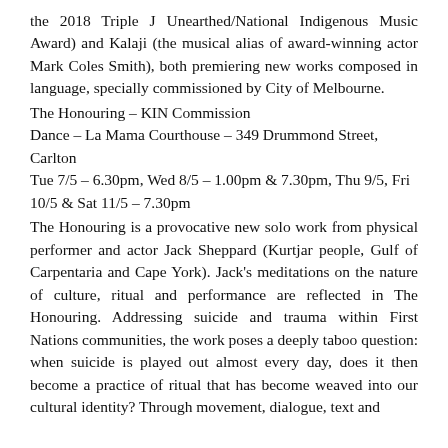the 2018 Triple J Unearthed/National Indigenous Music Award) and Kalaji (the musical alias of award-winning actor Mark Coles Smith), both premiering new works composed in language, specially commissioned by City of Melbourne.
The Honouring – KIN Commission
Dance – La Mama Courthouse – 349 Drummond Street, Carlton
Tue 7/5 – 6.30pm, Wed 8/5 – 1.00pm & 7.30pm, Thu 9/5, Fri 10/5 & Sat 11/5 – 7.30pm
The Honouring is a provocative new solo work from physical performer and actor Jack Sheppard (Kurtjar people, Gulf of Carpentaria and Cape York). Jack's meditations on the nature of culture, ritual and performance are reflected in The Honouring. Addressing suicide and trauma within First Nations communities, the work poses a deeply taboo question: when suicide is played out almost every day, does it then become a practice of ritual that has become weaved into our cultural identity? Through movement, dialogue, text and